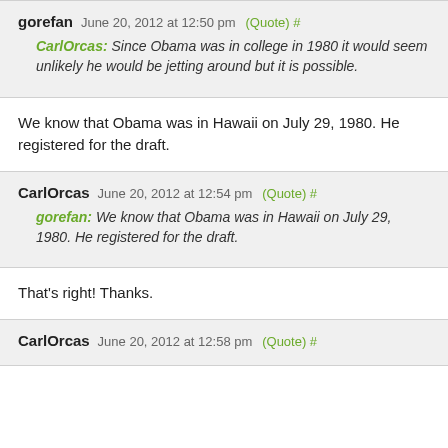gorefan June 20, 2012 at 12:50 pm (Quote) #
CarlOrcas: Since Obama was in college in 1980 it would seem unlikely he would be jetting around but it is possible.
We know that Obama was in Hawaii on July 29, 1980. He registered for the draft.
CarlOrcas June 20, 2012 at 12:54 pm (Quote) #
gorefan: We know that Obama was in Hawaii on July 29, 1980. He registered for the draft.
That's right! Thanks.
CarlOrcas June 20, 2012 at 12:58 pm (Quote) #